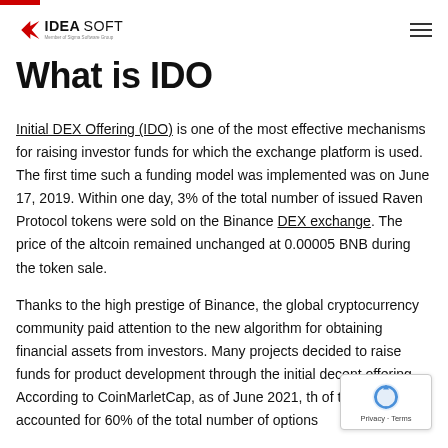IDEASOFT – Member of Sigma Software Group
What is IDO
Initial DEX Offering (IDO) is one of the most effective mechanisms for raising investor funds for which the exchange platform is used. The first time such a funding model was implemented was on June 17, 2019. Within one day, 3% of the total number of issued Raven Protocol tokens were sold on the Binance DEX exchange. The price of the altcoin remained unchanged at 0.00005 BNB during the token sale.
Thanks to the high prestige of Binance, the global cryptocurrency community paid attention to the new algorithm for obtaining financial assets from investors. Many projects decided to raise funds for product development through the initial decent… offering. According to CoinMarletCap, as of June 2021, the … of token sale accounted for 60% of the total number of options.